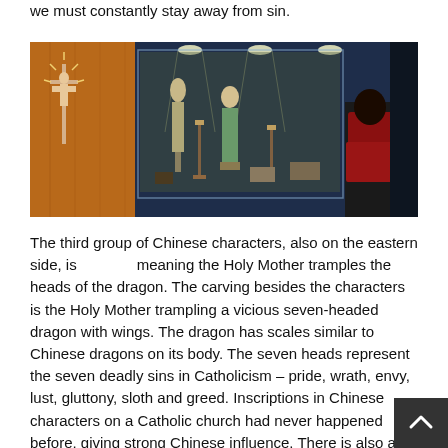we must constantly stay away from sin.
[Figure (photo): Museum display case showing Catholic religious artifacts including a crucifix on a wooden wall, statues, candlesticks, and other items in illuminated glass cases. A person in a red jacket is viewed from behind examining the display.]
The third group of Chinese characters, also on the eastern side, is [Chinese characters] meaning the Holy Mother tramples the heads of the dragon. The carving besides the characters is the Holy Mother trampling a vicious seven-headed dragon with wings. The dragon has scales similar to Chinese dragons on its body. The seven heads represent the seven deadly sins in Catholicism – pride, wrath, envy, lust, gluttony, sloth and greed. Inscriptions in Chinese characters on a Catholic church had never happened before, giving strong Chinese influence. There is also a lion-shaped wa